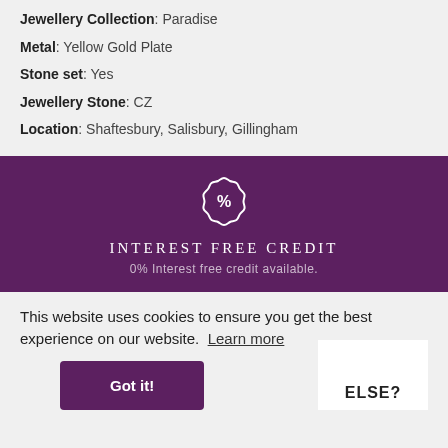Jewellery Collection: Paradise
Metal: Yellow Gold Plate
Stone set: Yes
Jewellery Stone: CZ
Location: Shaftesbury, Salisbury, Gillingham
[Figure (infographic): Purple banner with percentage badge icon, heading INTEREST FREE CREDIT, and subtext 0% Interest free credit available.]
This website uses cookies to ensure you get the best experience on our website. Learn more
Got it!
ELSE?